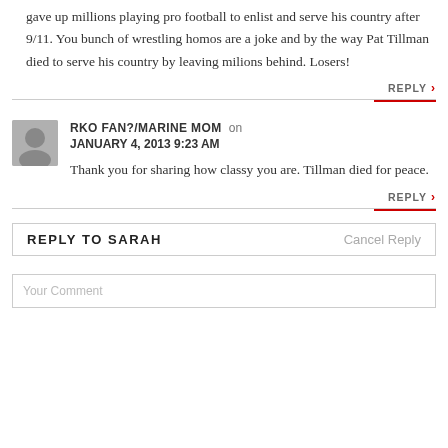gave up millions playing pro football to enlist and serve his country after 9/11. You bunch of wrestling homos are a joke and by the way Pat Tillman died to serve his country by leaving milions behind. Losers!
REPLY
RKO FAN?/MARINE MOM on JANUARY 4, 2013 9:23 AM
Thank you for sharing how classy you are. Tillman died for peace.
REPLY
REPLY TO SARAH
Cancel Reply
Your Comment